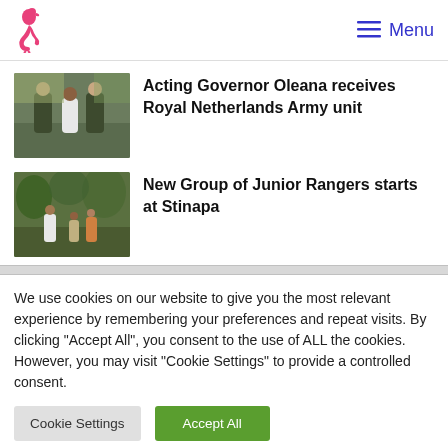Menu
Acting Governor Oleana receives Royal Netherlands Army unit
New Group of Junior Rangers starts at Stinapa
We use cookies on our website to give you the most relevant experience by remembering your preferences and repeat visits. By clicking "Accept All", you consent to the use of ALL the cookies. However, you may visit "Cookie Settings" to provide a controlled consent.
Cookie Settings
Accept All